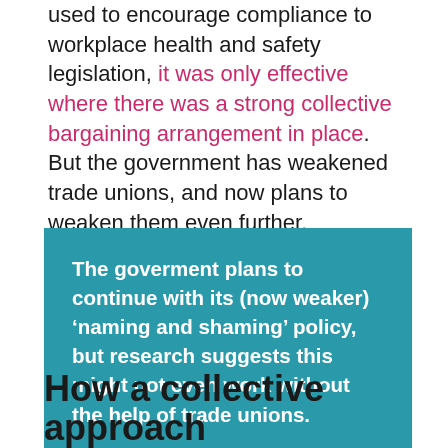used to encourage compliance to workplace health and safety legislation, it was only effective where there was a strong collective bargaining arrangement in place. But the government has weakened trade unions, and now plans to weaken them even further.
The goverment plans to continue with its (now weaker) ‘naming and shaming’ policy, but research suggests this might not even work without the help of trade unions.
How a collective approach